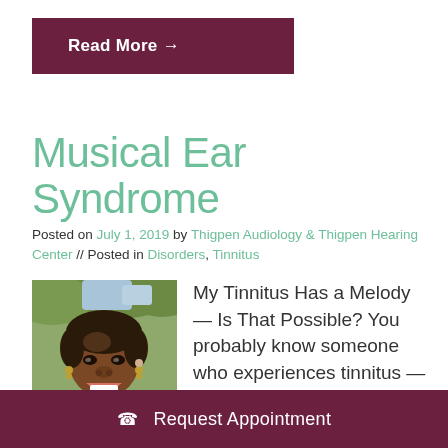Read More →
Musical Ear Syndrome
Posted on July 1, 2019 by Thigpen Audiology & Thigpen Hearing Center // Posted in Disorders, Tinnitus
[Figure (photo): A smiling African American woman outdoors, wearing earrings and a light-colored top.]
My Tinnitus Has a Melody — Is That Possible? You probably know someone who experiences tinnitus — a ringing, buzzing, pulsing, hissing, or humming with no external source. People
Request Appointment